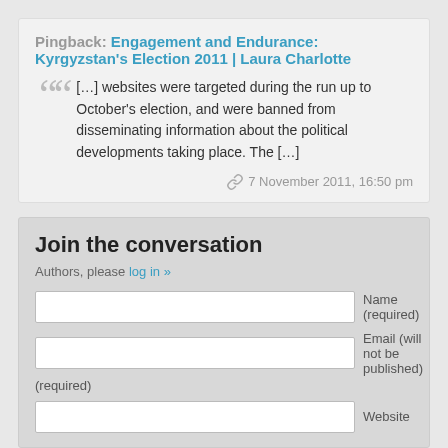Pingback: Engagement and Endurance: Kyrgyzstan's Election 2011 | Laura Charlotte
[...] websites were targeted during the run up to October's election, and were banned from disseminating information about the political developments taking place. The [...]
7 November 2011, 16:50 pm
Join the conversation
Authors, please log in »
Name (required)
Email (will not be published) (required)
Website